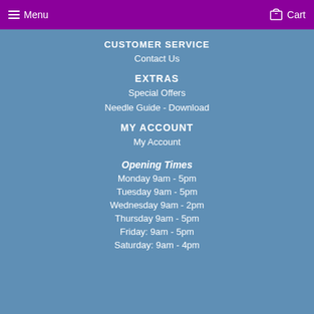Menu  Cart
CUSTOMER SERVICE
Contact Us
EXTRAS
Special Offers
Needle Guide - Download
MY ACCOUNT
My Account
Opening Times
Monday 9am - 5pm
Tuesday 9am - 5pm
Wednesday 9am - 2pm
Thursday 9am - 5pm
Friday: 9am - 5pm
Saturday: 9am - 4pm